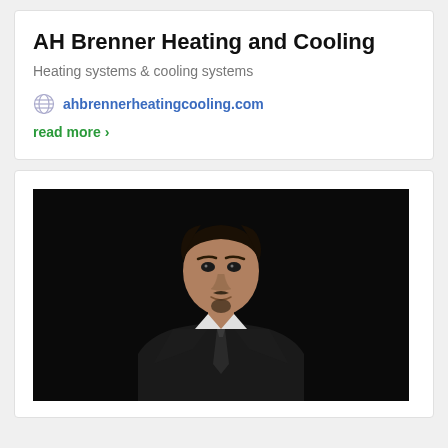AH Brenner Heating and Cooling
Heating systems & cooling systems
ahbrennerheatingcooling.com
read more >
[Figure (photo): Professional headshot of a young man with dark hair and a goatee, wearing a black suit and black tie, photographed against a black background.]